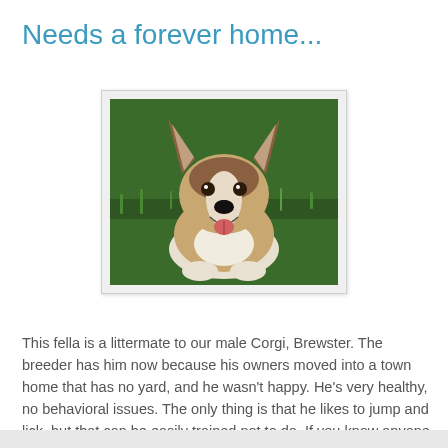Needs a forever home...
[Figure (photo): A Corgi dog sitting on green grass, looking up with mouth open and tongue slightly visible. The dog has tan, white, and black coloring with upright ears.]
This fella is a littermate to our male Corgi, Brewster. The breeder has him now because his owners moved into a town home that has no yard, and he wasn't happy. He's very healthy, no behavioral issues. The only thing is that he likes to jump and lick, but that can be easily trained not to do. If you know anyone who may be interested, breeder is seeking a $200 re-home fee because she has kept him up to date with shots and monthly heartworm meds